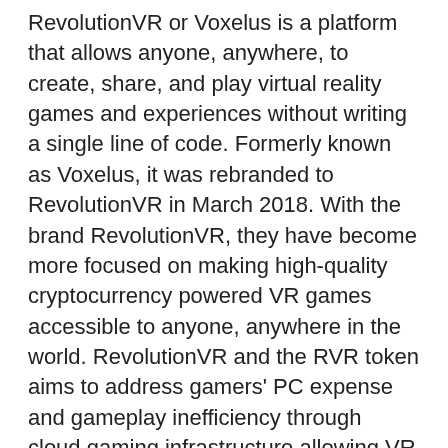RevolutionVR or Voxelus is a platform that allows anyone, anywhere, to create, share, and play virtual reality games and experiences without writing a single line of code. Formerly known as Voxelus, it was rebranded to RevolutionVR in March 2018. With the brand RevolutionVR, they have become more focused on making high-quality cryptocurrency powered VR games accessible to anyone, anywhere in the world. RevolutionVR and the RVR token aims to address gamers' PC expense and gameplay inefficiency through cloud gaming infrastructure allowing VR rendering to be handled in the cloud via the blockchain, bitstarz para yatırma bonusu yok 20 tiradas gratis. RevolutionVR graphics servers will render VR utilizing cloud-connected powerful computers that are distributed around the world creating an accessible service to a broader base of consumers. Spy apps